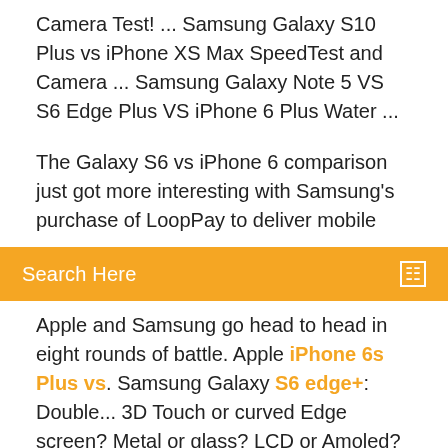Camera Test! ... Samsung Galaxy S10 Plus vs iPhone XS Max SpeedTest and Camera ... Samsung Galaxy Note 5 VS S6 Edge Plus VS iPhone 6 Plus Water ...
The Galaxy S6 vs iPhone 6 comparison just got more interesting with Samsung's purchase of LoopPay to deliver mobile
Search Here
Apple and Samsung go head to head in eight rounds of battle. Apple iPhone 6s Plus vs. Samsung Galaxy S6 edge+: Double... 3D Touch or curved Edge screen? Metal or glass? LCD or Amoled? iOS or Android? Speed and silky-smooth response or heavy-duty multitasking? These are the... Apple iPhone 6s Plus vs. Samsung Galaxy S6 edge+: Double... Interface Apple iOS and Android used to be very different beasts but over the years they have borrowed from each other and from other OSes so much that...